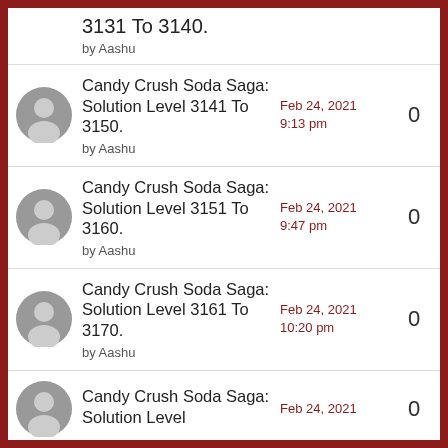3131 To 3140. by Aashu
Candy Crush Soda Saga: Solution Level 3141 To 3150. by Aashu — Feb 24, 2021 9:13 pm — 0
Candy Crush Soda Saga: Solution Level 3151 To 3160. by Aashu — Feb 24, 2021 9:47 pm — 0
Candy Crush Soda Saga: Solution Level 3161 To 3170. by Aashu — Feb 24, 2021 10:20 pm — 0
Candy Crush Soda Saga: Solution Level — Feb 24, 2021 — 0